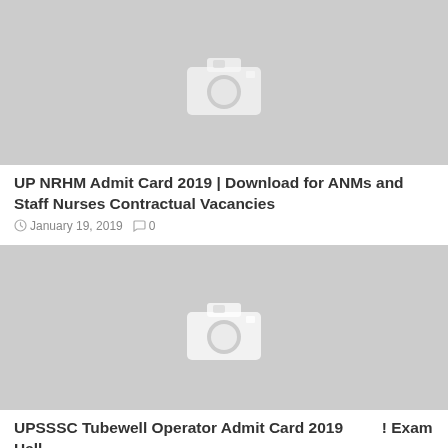[Figure (photo): Gray placeholder image with camera icon for UP NRHM Admit Card article]
UP NRHM Admit Card 2019 | Download for ANMs and Staff Nurses Contractual Vacancies
January 19, 2019  0
[Figure (photo): Gray placeholder image with camera icon for UPSSSC Tubewell Operator Admit Card article]
UPSSSC Tubewell Operator Admit Card 2019                    ! Exam Hall